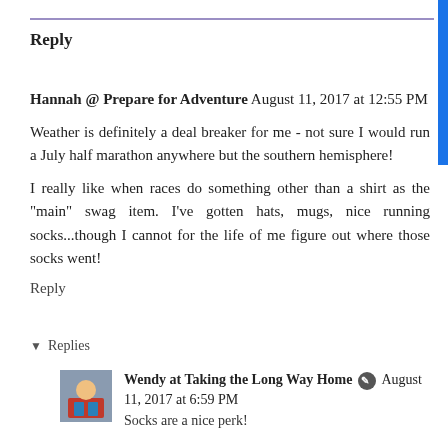Reply
Hannah @ Prepare for Adventure  August 11, 2017 at 12:55 PM
Weather is definitely a deal breaker for me - not sure I would run a July half marathon anywhere but the southern hemisphere!
I really like when races do something other than a shirt as the "main" swag item. I've gotten hats, mugs, nice running socks...though I cannot for the life of me figure out where those socks went!
Reply
Replies
Wendy at Taking the Long Way Home  August 11, 2017 at 6:59 PM
Socks are a nice perk!